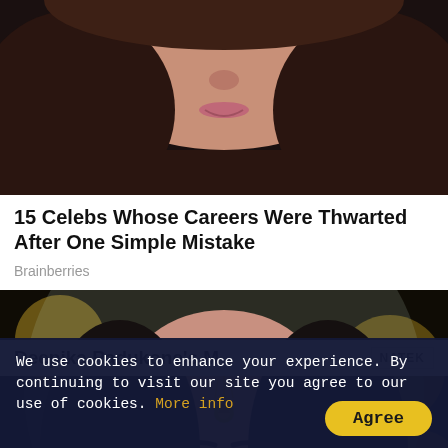[Figure (photo): Partial view of a woman's face and hair, close-up photo cropped at top of page]
15 Celebs Whose Careers Were Thwarted After One Simple Mistake
Brainberries
[Figure (photo): Portrait of Deepika Padukone in bridal attire with maang tikka jewelry, nose ring, and veil, with bokeh background]
Deepika Padukone's M
NATEK
We use cookies to enhance your experience. By continuing to visit our site you agree to our use of cookies. More info
Agree